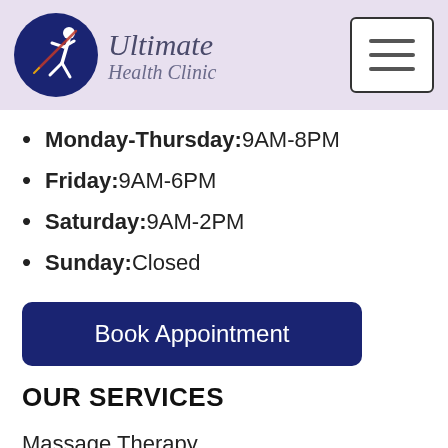[Figure (logo): Ultimate Health Clinic logo with a dark blue circle containing a stylized running figure and needle/acupuncture imagery, next to the italic text 'Ultimate Health Clinic']
Monday-Thursday: 9AM-8PM
Friday: 9AM-6PM
Saturday: 9AM-2PM
Sunday: Closed
Book Appointment
OUR SERVICES
Massage Therapy
Chiropractic
Osteopathy
Trigenics